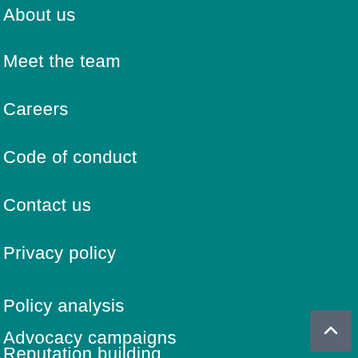About us
Meet the team
Careers
Code of conduct
Contact us
Privacy policy
Policy analysis
Advocacy campaigns
Reputation building